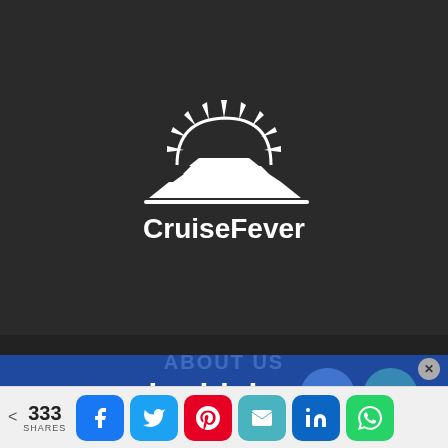[Figure (logo): CruiseFever logo — cruise ship with sun rays on dark background, white text 'CruiseFever' below]
ABOUT US
Two brothers started Cruise Fever in 2011 when they decided... well write... going on
[Figure (infographic): doublehop advertisement banner overlay with circular elements and blue background]
[Figure (infographic): Social share bar showing 333 SHARES with Facebook, Twitter, Pinterest, Email, LinkedIn, WhatsApp buttons]